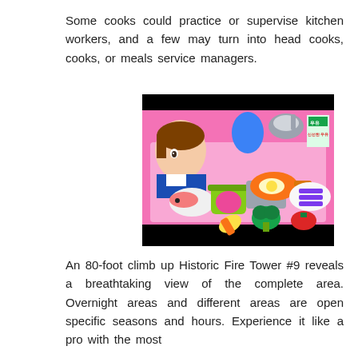Some cooks could practice or supervise kitchen workers, and a few may turn into head cooks, cooks, or meals service managers.
[Figure (photo): A toy kitchen play set featuring a doll with brown hair wearing a sailor outfit, surrounded by colorful toy food items including a fried egg in an orange pan, green vegetables, a pink pan with an egg, toy fish, corn, broccoli, and a milk carton with Korean text.]
An 80-foot climb up Historic Fire Tower #9 reveals a breathtaking view of the complete area. Overnight areas and different areas are open specific seasons and hours. Experience it like a pro with the most